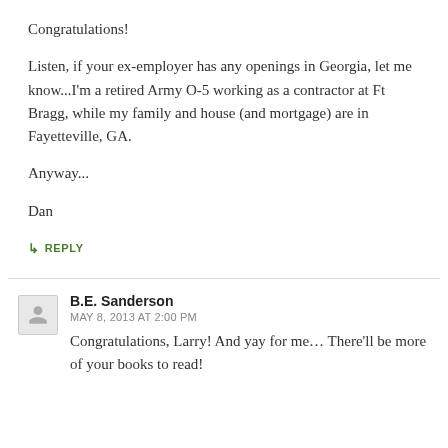Congratulations!
Listen, if your ex-employer has any openings in Georgia, let me know...I'm a retired Army O-5 working as a contractor at Ft Bragg, while my family and house (and mortgage) are in Fayetteville, GA.
Anyway...
Dan
↳ REPLY
B.E. Sanderson
MAY 8, 2013 AT 2:00 PM
Congratulations, Larry! And yay for me… There'll be more of your books to read!